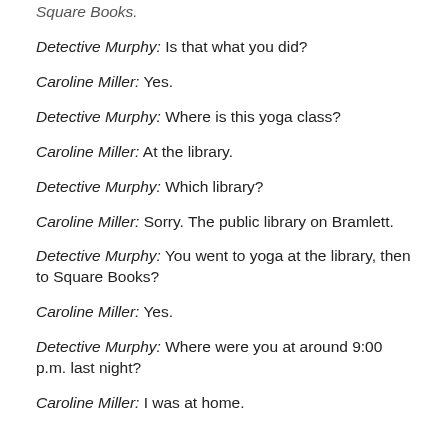Square Books.
Detective Murphy: Is that what you did?
Caroline Miller: Yes.
Detective Murphy: Where is this yoga class?
Caroline Miller: At the library.
Detective Murphy: Which library?
Caroline Miller: Sorry. The public library on Bramlett.
Detective Murphy: You went to yoga at the library, then to Square Books?
Caroline Miller: Yes.
Detective Murphy: Where were you at around 9:00 p.m. last night?
Caroline Miller: I was at home.